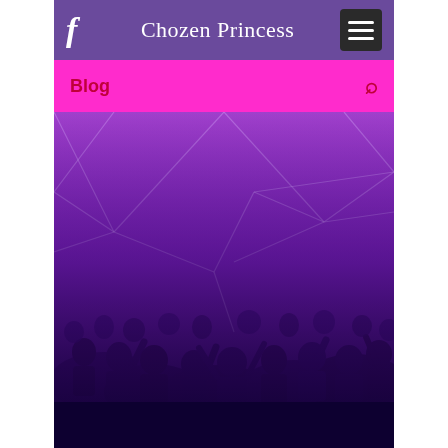f  Chozen Princess  ☰
Blog  🔍
[Figure (photo): Concert crowd with hands raised under purple/violet tinted light with geometric line overlay, purple to dark blue gradient from top to bottom.]